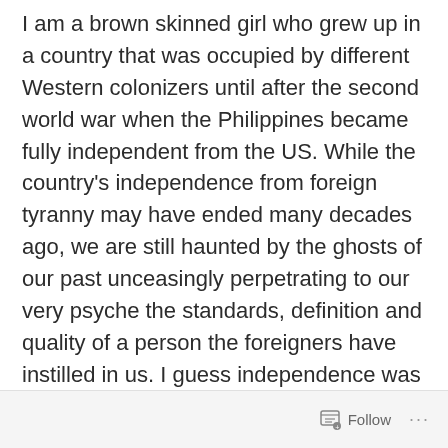I am a brown skinned girl who grew up in a country that was occupied by different Western colonizers until after the second world war when the Philippines became fully independent from the US. While the country's independence from foreign tyranny may have ended many decades ago, we are still haunted by the ghosts of our past unceasingly perpetrating to our very psyche the standards, definition and quality of a person the foreigners have instilled in us. I guess independence was not entirely achieved.
Follow ...